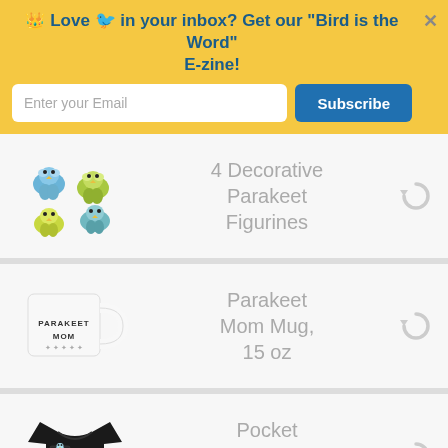Love 🐦 in your inbox? Get our "Bird is the Word" E-zine!
Enter your Email
Subscribe
4 Decorative Parakeet Figurines
Parakeet Mom Mug, 15 oz
Pocket Budgie T-Shirt